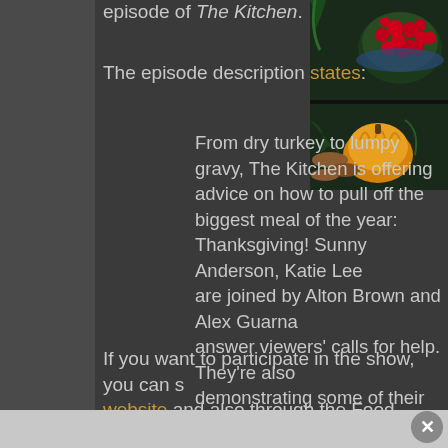episode of The Kitchen.
The episode description states:
[Figure (photo): Overhead photo of Thanksgiving food items including a bowl of red cranberries, a yellow pumpkin, and sausages with herbs on a dark background.]
From dry turkey to lumpy gravy, The Kitchen is offering advice on how to pull off the biggest meal of the year: Thanksgiving! Sunny Anderson, Katie Lee are joined by Alton Brown and Alex Guarna answer viewers' calls for help. They're also demonstrating some of their family recipes
If you want to participate in the show, you can s website and also through the Food Network Kit social media platforms such as Twitter by using